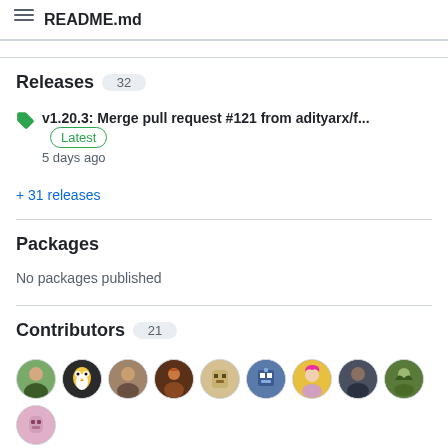README.md
Releases 32
v1.20.3: Merge pull request #121 from adityarx/f... Latest
5 days ago
+ 31 releases
Packages
No packages published
Contributors 21
[Figure (photo): Row of 10+ contributor avatar icons]